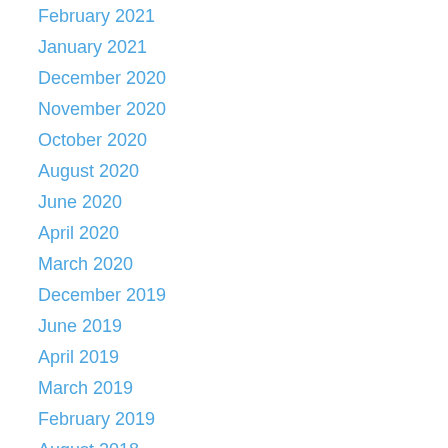February 2021
January 2021
December 2020
November 2020
October 2020
August 2020
June 2020
April 2020
March 2020
December 2019
June 2019
April 2019
March 2019
February 2019
August 2018
June 2018
April 2018
March 2018
February 2018
June 2017